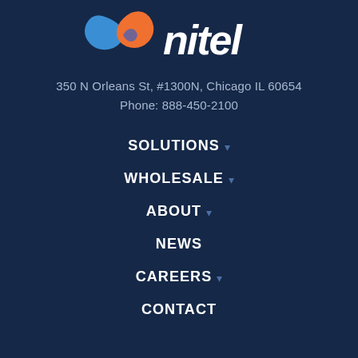[Figure (logo): Nitel company logo with abstract wing/butterfly icon in blue and orange, followed by the word 'nitel' in large white italic text]
350 N Orleans St, #1300N, Chicago IL 60654
Phone: 888-450-2100
SOLUTIONS ▾
WHOLESALE ▾
ABOUT ▾
NEWS
CAREERS ▾
CONTACT